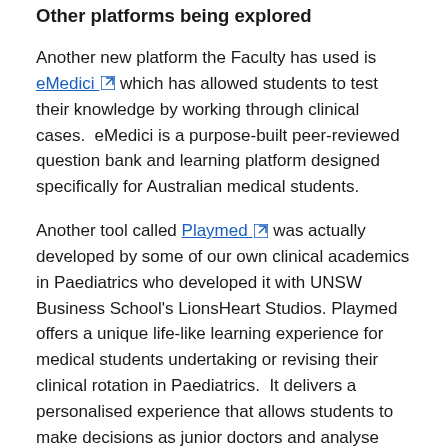Other platforms being explored
Another new platform the Faculty has used is eMedici which has allowed students to test their knowledge by working through clinical cases.  eMedici is a purpose-built peer-reviewed question bank and learning platform designed specifically for Australian medical students.
Another tool called Playmed was actually developed by some of our own clinical academics in Paediatrics who developed it with UNSW Business School's LionsHeart Studios. Playmed offers a unique life-like learning experience for medical students undertaking or revising their clinical rotation in Paediatrics.  It delivers a personalised experience that allows students to make decisions as junior doctors and analyse their medical outcomes. It consists of interactive, simulated scenarios.